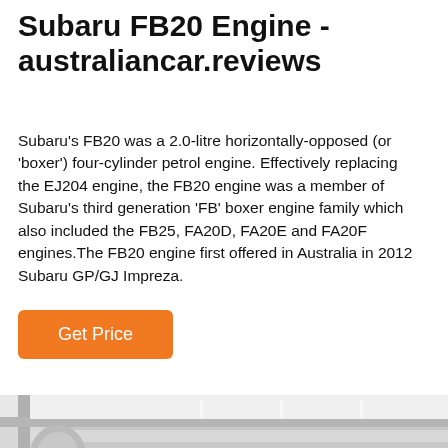Subaru FB20 Engine - australiancar.reviews
Subaru's FB20 was a 2.0-litre horizontally-opposed (or 'boxer') four-cylinder petrol engine. Effectively replacing the EJ204 engine, the FB20 engine was a member of Subaru's third generation 'FB' boxer engine family which also included the FB25, FA20D, FA20E and FA20F engines.The FB20 engine first offered in Australia in 2012 Subaru GP/GJ Impreza.
Get Price
[Figure (photo): Photo of Subaru FB20 engine components showing cylindrical parts in a workshop/industrial setting]